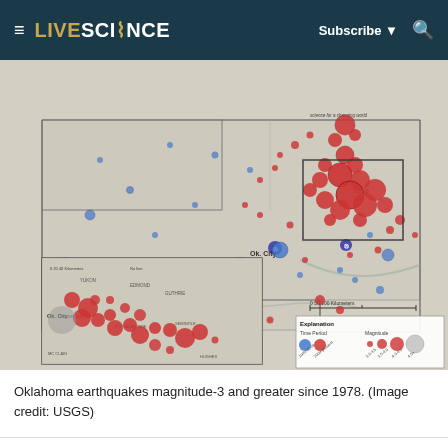LIVESCIENCE  Subscribe ▼  🔍
[Figure (map): Map of Oklahoma earthquakes magnitude-3 and greater since 1978. Shows Oklahoma and surrounding states with red circles (2009–present earthquakes) and blue circles (1975–2009 earthquakes) plotted at their locations. Larger circles indicate higher magnitude. Heavy concentration of red circles northeast of Oklahoma City. Inset map in lower left shows zoomed view of Oklahoma City area with dense red earthquake clusters. Legend in lower right shows Time Period (blue=1975-2009, red=2009-present) and Magnitude scale (3-3.5, 3.5-4.5, 4.5-4.5, 4.5+). Credit: USGS.]
Oklahoma earthquakes magnitude-3 and greater since 1978. (Image credit: USGS)